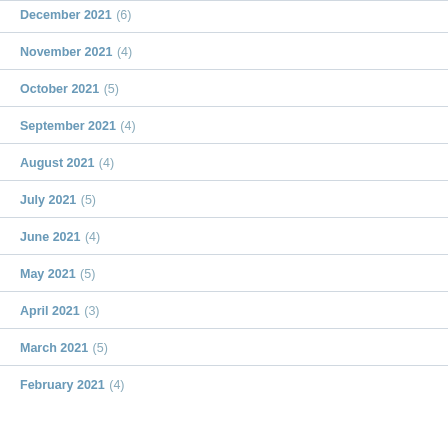December 2021 (6)
November 2021 (4)
October 2021 (5)
September 2021 (4)
August 2021 (4)
July 2021 (5)
June 2021 (4)
May 2021 (5)
April 2021 (3)
March 2021 (5)
February 2021 (4)